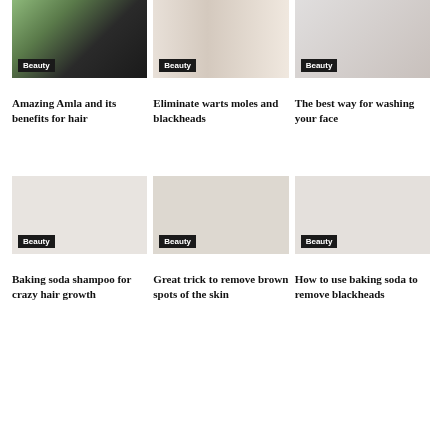[Figure (photo): Photo of hair/amla with green leaf overlay, Beauty badge]
Amazing Amla and its benefits for hair
[Figure (photo): Skin close-up with cream, Beauty badge]
Eliminate warts moles and blackheads
[Figure (photo): Face washing product photo, Beauty badge]
The best way for washing your face
[Figure (photo): Baking soda product photo, Beauty badge]
Baking soda shampoo for crazy hair growth
[Figure (photo): Skin spots photo, Beauty badge]
Great trick to remove brown spots of the skin
[Figure (photo): Blackheads removal photo, Beauty badge]
How to use baking soda to remove blackheads